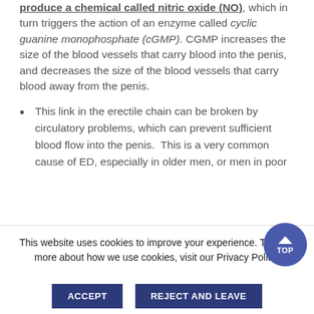produce a chemical called nitric oxide (NO), which in turn triggers the action of an enzyme called cyclic guanine monophosphate (cGMP). CGMP increases the size of the blood vessels that carry blood into the penis, and decreases the size of the blood vessels that carry blood away from the penis.
This link in the erectile chain can be broken by circulatory problems, which can prevent sufficient blood flow into the penis. This is a very common cause of ED, especially in older men, or men in poor
This website uses cookies to improve your experience. To learn more about how we use cookies, visit our Privacy Policy.